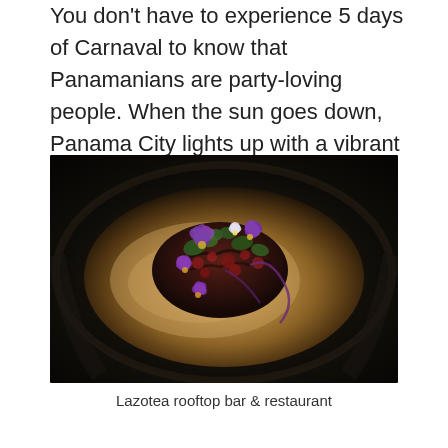You don't have to experience 5 days of Carnaval to know that Panamanians are party-loving people. When the sun goes down, Panama City lights up with a vibrant scene that caters to all ages, interests, and levels of stamina.
[Figure (photo): A dark ceramic bowl with a gourmet dish: charred octopus or meat topped with purple edible flowers, green herbs, and vegetables in a creamy golden sauce. Fine dining presentation.]
Lazotea rooftop bar & restaurant